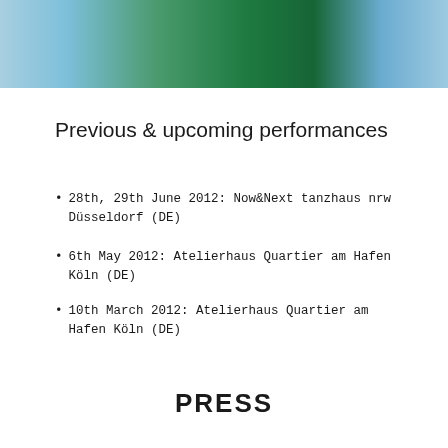[Figure (photo): Cropped photo showing a person wearing a dark green top and light blue clothing, from shoulder/chest area upward]
Previous & upcoming performances
28th, 29th June 2012: Now&Next tanzhaus nrw Düsseldorf (DE)
6th May 2012: Atelierhaus Quartier am Hafen Köln (DE)
10th March 2012: Atelierhaus Quartier am Hafen Köln (DE)
PRESS